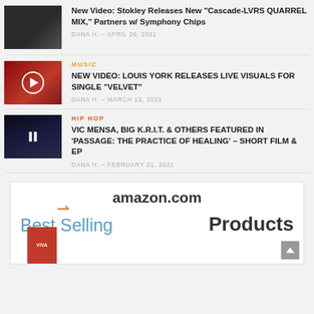New Video: Stokley Releases New “Cascade-LVRS QUARREL MIX,” Partners w/ Symphony Chips
DANA H. – APRIL 26, 2021
MUSIC
NEW VIDEO: LOUIS YORK RELEASES LIVE VISUALS FOR SINGLE “VELVET”
DANA H. – MARCH 12, 2021
HIP HOP
VIC MENSA, BIG K.R.I.T. & OTHERS FEATURED IN ‘PASSAGE: THE PRACTICE OF HEALING’ – SHORT FILM & EP
DANA H. – FEBRUARY 21, 2021
[Figure (screenshot): Amazon.com Best Selling Products advertisement banner]